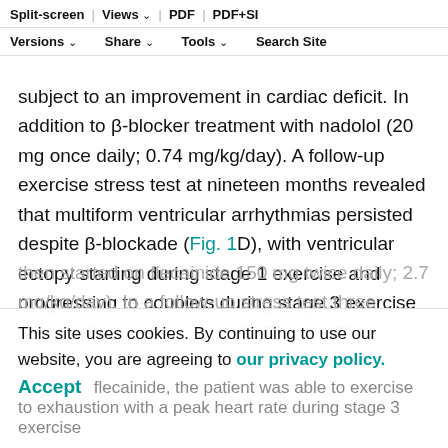Split-screen | Views | PDF | PDF+SI | Versions | Share | Tools | Search Site
subject to an improvement in cardiac deficit. In addition to β-blocker treatment with nadolol (20 mg once daily; 0.74 mg/kg/day). A follow-up exercise stress test at nineteen months revealed that multiform ventricular arrhythmias persisted despite β-blockade (Fig. 1D), with ventricular ectopy starting during stage 1 exercise and progressing to couplets during stage 3 exercise at a maximum heart rate of 138 bpm. The comparatively low heart rate during nadolol treatment compared with the diagnostic heart rate at matched exercise intensities demonstrates the patient's compliance with β-blocker therapy and validates the treatment dose. The patient was then started on flecainide 150 mg twice daily; 2.7 mg/kg/day). In a follow-up stress test three weeks after flecainide, the patient was able to exercise to exhaustion with a peak heart rate during stage 3 exercise
This site uses cookies. By continuing to use our website, you are agreeing to our privacy policy.
Accept